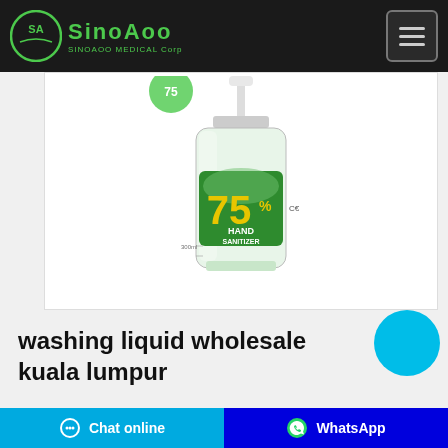SinoAoo Medical Corp
[Figure (photo): Hand sanitizer bottle with pump dispenser, labeled 75% Hand Sanitizer with green label]
washing liquid wholesale kuala lumpur
Wholesale Quality washing liquid...